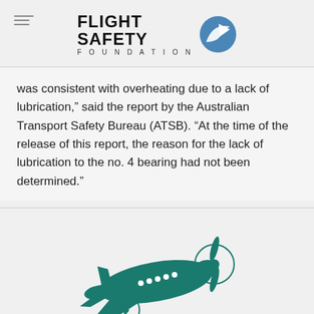FLIGHT SAFETY FOUNDATION
was consistent with overheating due to a lack of lubrication,” said the report by the Australian Transport Safety Bureau (ATSB). “At the time of the release of this report, the reason for the lack of lubrication to the no. 4 bearing had not been determined.”
[Figure (illustration): Green silhouette illustration of a twin-engine propeller aircraft (Beechcraft King Air style) viewed from a slightly elevated angle, flying to the right. The aircraft is rendered in dark teal/green color with white window dots and propeller detail lines.]